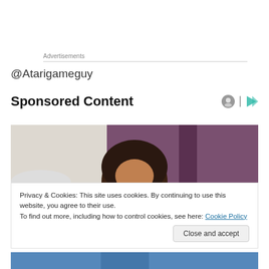Advertisements
@Atarigameguy
Sponsored Content
[Figure (photo): A woman with curly hair looking downward, purple curtain in the background]
Privacy & Cookies: This site uses cookies. By continuing to use this website, you agree to their use.
To find out more, including how to control cookies, see here: Cookie Policy
[Figure (photo): Bottom strip showing a person in blue, partially visible]